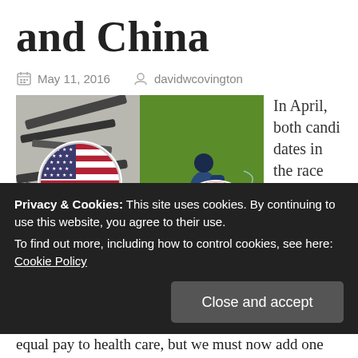and China
May 11, 2016   davidwcovington
[Figure (photo): Two-panel composite image: left panel shows an array of handguns and rifles with a circular American flag overlay; right panel shows a person spraying a field with a circular Chinese flag overlay.]
In April, both candidates in the race for
Privacy & Cookies: This site uses cookies. By continuing to use this website, you agree to their use.
To find out more, including how to control cookies, see here: Cookie Policy
equal pay to health care, but we must now add one